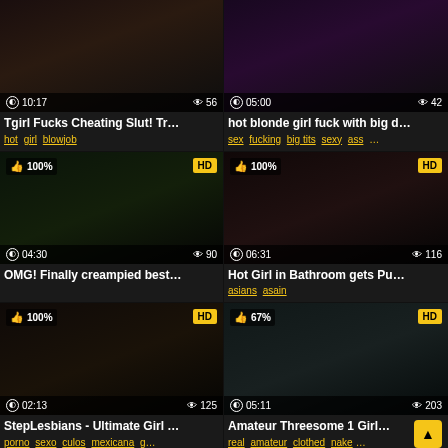[Figure (screenshot): Video thumbnail grid - adult video website with 6 video cards arranged in 2 columns showing thumbnails with duration, view counts, HD badges, like percentages, titles, and tags]
Tgirl Fucks Cheating Slut! Tr... | Tags: hot girl blowjob | Duration: 10:17 | Views: 56
hot blonde girl fuck with big d... | Tags: sex fucking big tits sexy ass ... | Duration: 05:00 | Views: 42
OMG! Finally creampied best... | Duration: 04:30 | Views: 90 | 100% HD
Hot Girl in Bathroom gets Pu... | Tags: asians asain | Duration: 06:31 | Views: 116 | 100% HD
StepLesbians - Ultimate Girl ... | Tags: porno sexo culos mexicana g... | Duration: 02:13 | Views: 125 | 100% HD
Amateur Threesome 1 Girl... | Tags: real amateur clothed nake... | Duration: 05:11 | Views: 203 | 67% HD